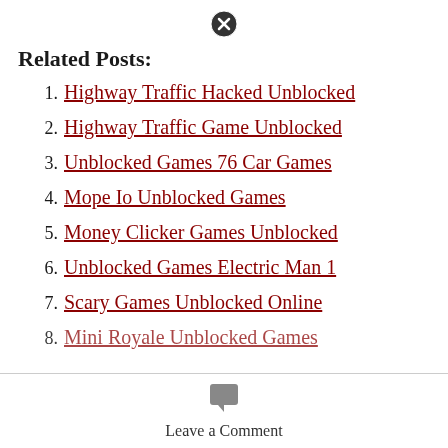[Figure (other): Close/dismiss button circle with X icon]
Related Posts:
Highway Traffic Hacked Unblocked
Highway Traffic Game Unblocked
Unblocked Games 76 Car Games
Mope Io Unblocked Games
Money Clicker Games Unblocked
Unblocked Games Electric Man 1
Scary Games Unblocked Online
Mini Royale Unblocked Games
[Figure (other): Comment/speech bubble icon]
Leave a Comment